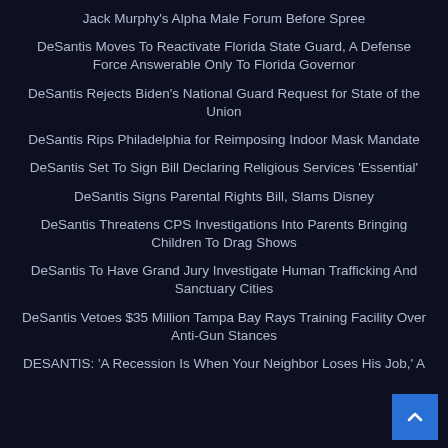Jack Murphy's Alpha Male Forum Before Spree
DeSantis Moves To Reactivate Florida State Guard, A Defense Force Answerable Only To Florida Governor
DeSantis Rejects Biden's National Guard Request for State of the Union
DeSantis Rips Philadelphia for Reimposing Indoor Mask Mandate
DeSantis Set To Sign Bill Declaring Religious Services 'Essential'
DeSantis Signs Parental Rights Bill, Slams Disney
DeSantis Threatens CPS Investigations Into Parents Bringing Children To Drag Shows
DeSantis To Have Grand Jury Investigate Human Trafficking And Sanctuary Cities
DeSantis Vetoes $35 Million Tampa Bay Rays Training Facility Over Anti-Gun Stances
DESANTIS: 'A Recession Is When Your Neighbor Loses His Job,' A